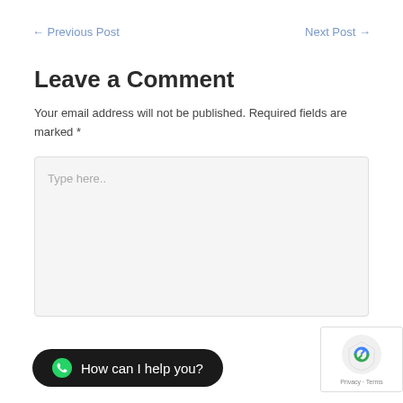← Previous Post    Next Post →
Leave a Comment
Your email address will not be published. Required fields are marked *
[Figure (other): Comment text input box with placeholder text 'Type here..']
[Figure (other): WhatsApp chat button with text 'How can I help you?']
[Figure (other): reCAPTCHA badge with Privacy and Terms links]